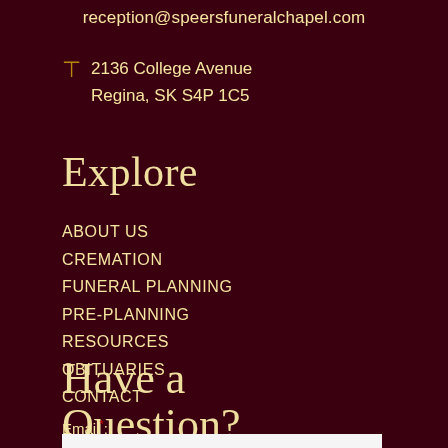reception@speersfuneralchapel.com
2136 College Avenue
Regina, SK S4P 1C5
Explore
ABOUT US
CREMATION
FUNERAL PLANNING
PRE-PLANNING
RESOURCES
OBITUARIES
CONTACT
Have a Question?
Email*: